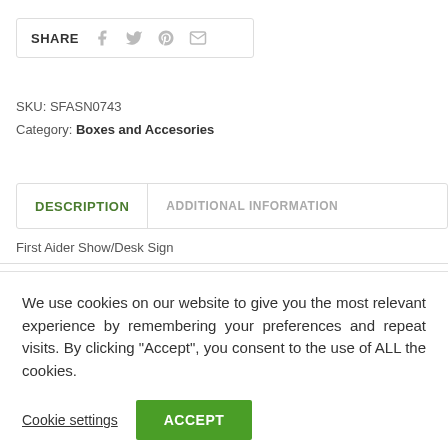[Figure (other): Share box with social media icons: Facebook, Twitter, Pinterest, Email]
SKU: SFASN0743
Category: Boxes and Accesories
[Figure (other): Tab navigation with two tabs: DESCRIPTION (active, green) and ADDITIONAL INFORMATION (inactive, grey)]
First Aider Show/Desk Sign
We use cookies on our website to give you the most relevant experience by remembering your preferences and repeat visits. By clicking “Accept”, you consent to the use of ALL the cookies.
Cookie settings
ACCEPT